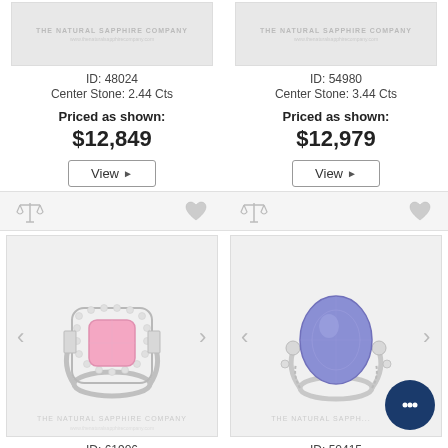[Figure (photo): Product image placeholder for ring ID 48024 - The Natural Sapphire Company watermark]
ID: 48024
Center Stone: 2.44 Cts
Priced as shown:
$12,849
View ▶
[Figure (photo): Product image placeholder for ring ID 54980 - The Natural Sapphire Company watermark]
ID: 54980
Center Stone: 3.44 Cts
Priced as shown:
$12,979
View ▶
[Figure (photo): Pink sapphire ring with diamond halo - The Natural Sapphire Company, ID 61906]
ID: 61906
Center Stone: 2.73 Cts
[Figure (photo): Blue/violet sapphire oval ring in white gold setting - The Natural Sapphire Company, ID 50415]
ID: 50415
Center Stone: 5.43 Cts